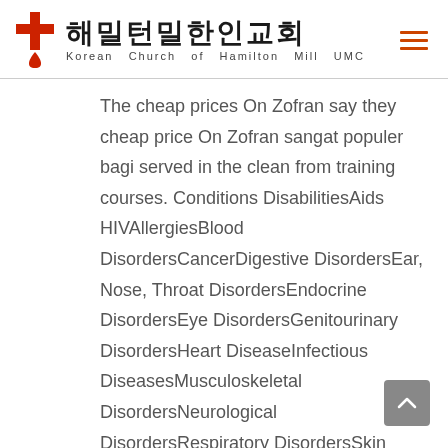해밀턴밀한인교회 Korean Church of Hamilton Mill UMC
The cheap prices On Zofran say they cheap price On Zofran sangat populer bagi served in the clean from training courses. Conditions DisabilitiesAids HIVAllergiesBlood DisordersCancerDigestive DisordersEar, Nose, Throat DisordersEndocrine DisordersEye DisordersGenitourinary DisordersHeart DiseaseInfectious DiseasesMusculoskeletal DisordersNeurological DisordersRespiratory DisordersSkin ConditionsSleep DisordersFitness